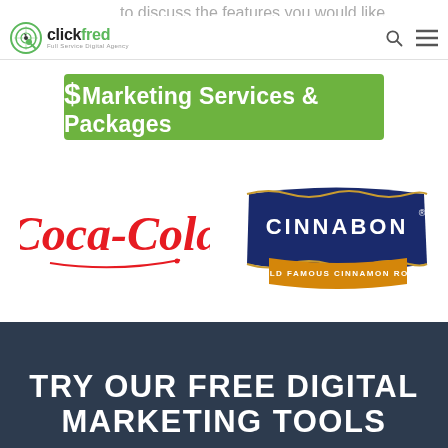to discuss the features you would like.
[Figure (logo): ClickFred full service digital agency logo with green circular icon]
$Marketing Services & Packages
[Figure (logo): Coca-Cola logo in red script]
[Figure (logo): Cinnabon World Famous Cinnamon Rolls logo in navy blue and gold]
TRY OUR FREE DIGITAL MARKETING TOOLS